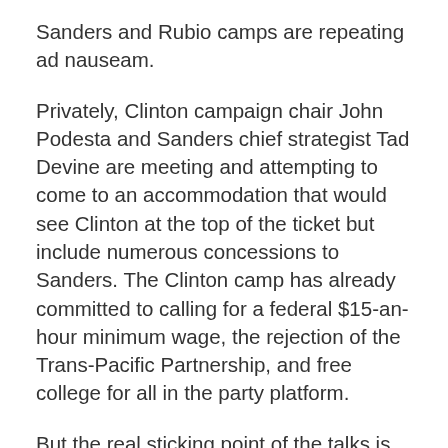Sanders and Rubio camps are repeating ad nauseam.
Privately, Clinton campaign chair John Podesta and Sanders chief strategist Tad Devine are meeting and attempting to come to an accommodation that would see Clinton at the top of the ticket but include numerous concessions to Sanders. The Clinton camp has already committed to calling for a federal $15-an-hour minimum wage, the rejection of the Trans-Pacific Partnership, and free college for all in the party platform.
But the real sticking point of the talks is the VP slot. Devine and Sanders campaign manager Jeff Weaver had floated the idea of Sanders on the ticket, but Clinton considers his age and personal antipathy